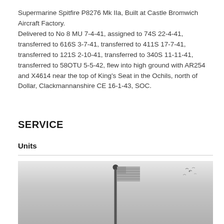Supermarine Spitfire P8276 Mk IIa, Built at Castle Bromwich Aircraft Factory. Delivered to No 8 MU 7-4-41, assigned to 74S 22-4-41, transferred to 616S 3-7-41, transferred to 411S 17-7-41, transferred to 121S 2-10-41, transferred to 340S 11-11-41, transferred to 58OTU 5-5-42, flew into high ground with AR254 and X4614 near the top of King's Seat in the Ochils, north of Dollar, Clackmannanshire CE 16-1-43, SOC.
SERVICE
Units
[Figure (photo): Black and white photograph showing a flagpole with a flag (appears to be an American flag) against a grey sky, with birds or specks visible in the upper right area of the sky.]